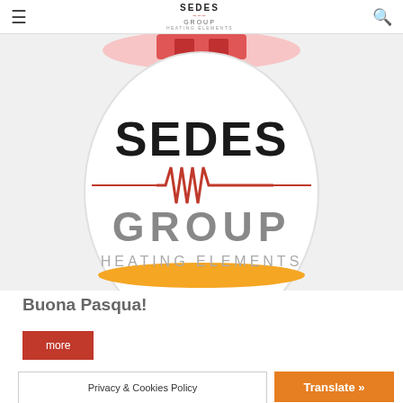SEDES GROUP HEATING ELEMENTS — navigation bar with hamburger menu and search icon
[Figure (illustration): Sedes Group Heating Elements Easter egg illustration: a large white oval egg shape with red bow/ribbon at top, yellow stripe at bottom, displaying the SEDES GROUP HEATING ELEMENTS logo in the center with red wave/heartbeat graphic element]
Buona Pasqua!
more
Privacy & Cookies Policy
Translate »